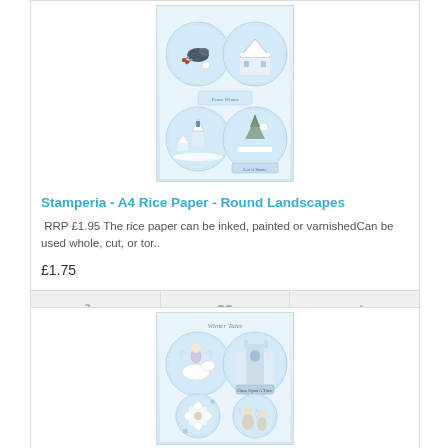[Figure (photo): Product image of Stamperia A4 Rice Paper - Round Landscapes showing four circular medallion illustrations of winter landscapes in blue and white tones, with a bird on a branch, snowy houses and a church.]
Stamperia - A4 Rice Paper - Round Landscapes
RRP £1.95 The rice paper can be inked, painted or varnishedCan be used whole, cut, or tor..
£1.75
[Figure (photo): Product image of a second Stamperia A4 Rice Paper showing four circular medallion illustrations with winter fairy/angel figures, a castle, flowers and cherubs in blue and white tones.]